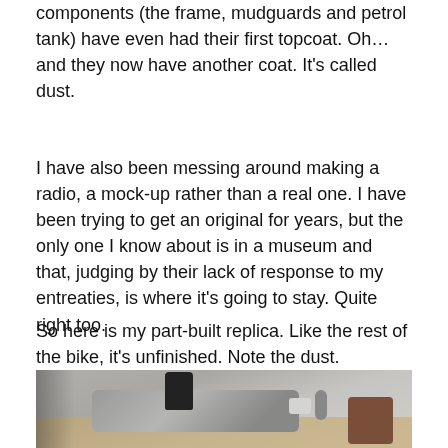components (the frame, mudguards and petrol tank) have even had their first topcoat. Oh… and they now have another coat. It's called dust.
I have also been messing around making a radio, a mock-up rather than a real one. I have been trying to get an original for years, but the only one I know about is in a museum and that, judging by their lack of response to my entreaties, is where it's going to stay. Quite right too.
So here is my part-built replica. Like the rest of the bike, it's unfinished. Note the dust.
[Figure (photo): A photograph of a part-built radio replica sitting on a wooden surface. The device appears to be a metallic silver/grey radio mock-up with black knobs and connectors, viewed from above at an angle. A brown leather strap is visible at the right edge.]